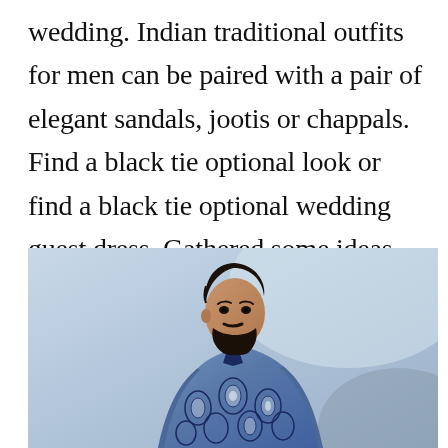wedding. Indian traditional outfits for men can be paired with a pair of elegant sandals, jootis or chappals. Find a black tie optional look or find a black tie optional wedding guest dress. Gathered some ideas for you.
[Figure (photo): A bearded Indian man with dark hair wearing a blue patterned sherwani/kurta with intricate white and dark blue decorative motifs, photographed against a light blue-grey background.]